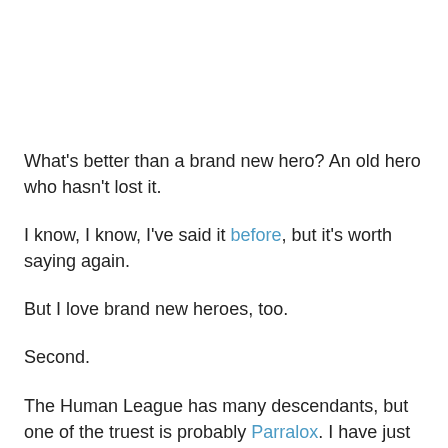What's better than a brand new hero? An old hero who hasn't lost it.
I know, I know, I've said it before, but it's worth saying again.
But I love brand new heroes, too.
Second.
The Human League has many descendants, but one of the truest is probably Parralox. I have just now downloaded Metropolis, their third album, today. Like The Human League, Parralox are all about the future – although it's sometimes a future imagined in the early twentieth century. Even the title of the new album brings to mind Fritz Lang's silent film